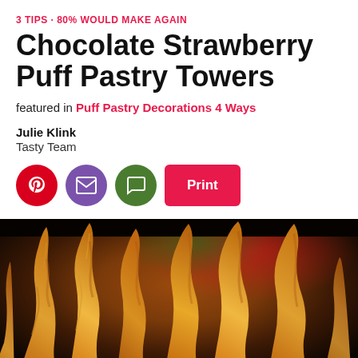3 TIPS · 80% WOULD MAKE AGAIN
Chocolate Strawberry Puff Pastry Towers
featured in Puff Pastry Decorations 4 Ways
Julie Klink
Tasty Team
[Figure (photo): Close-up photo of golden-brown baked puff pastry towers with twisted/pulled shapes against a dark background with red and green festive decorations]
[Figure (other): Social sharing buttons: Pinterest (red circle), Email (purple circle), Comment (green circle), and a pink Print button]